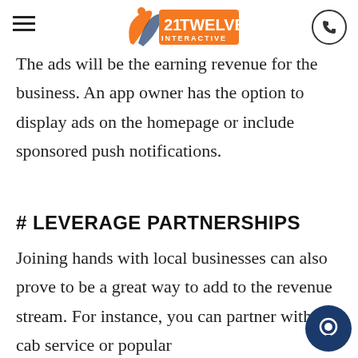21Twelve Interactive — navigation header with logo and phone button
The ads will be the earning revenue for the business. An app owner has the option to display ads on the homepage or include sponsored push notifications.
# LEVERAGE PARTNERSHIPS
Joining hands with local businesses can also prove to be a great way to add to the revenue stream. For instance, you can partner with a cab service or popular